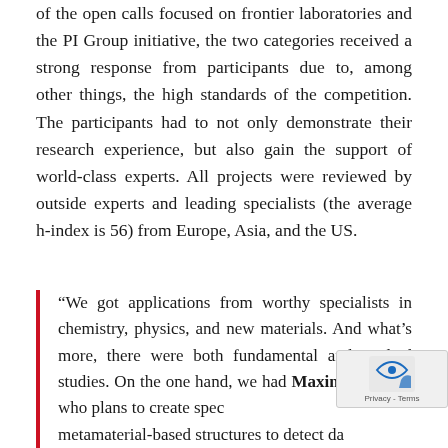of the open calls focused on frontier laboratories and the PI Group initiative, the two categories received a strong response from participants due to, among other things, the high standards of the competition. The participants had to not only demonstrate their research experience, but also gain the support of world-class experts. All projects were reviewed by outside experts and leading specialists (the average h-index is 56) from Europe, Asia, and the US.
“We got applications from worthy specialists in chemistry, physics, and new materials. And what’s more, there were both fundamental and applied studies. On the one hand, we had Maxim Gorlach, who plans to create spe... metamaterial-based structures to detect da... matter, and on the other, Sergey Makarov with